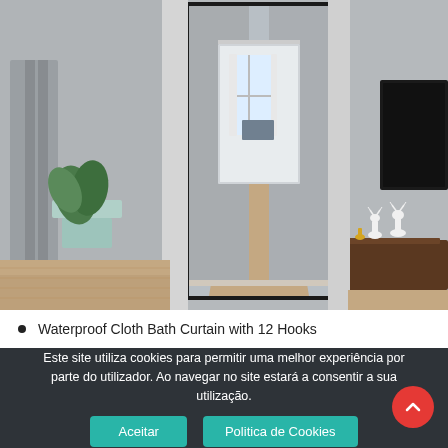[Figure (photo): Interior room photo showing a large full-length floor mirror with thin dark frame leaning against a gray wall, reflecting a hallway with wooden flooring. Room has a wooden sideboard with white deer figurines on the right, green plants in a white pot on the left, gray curtains, and a TV on the far right wall.]
Waterproof Cloth Bath Curtain with 12 Hooks
Este site utiliza cookies para permitir uma melhor experiência por parte do utilizador. Ao navegar no site estará a consentir a sua utilização.
Aceitar
Politica de Cookies